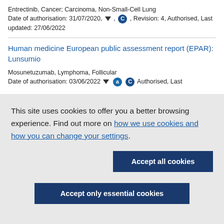Entrectinib, Cancer; Carcinoma, Non-Small-Cell Lung
Date of authorisation: 31/07/2020, [down arrow], [C], Revision: 4, Authorised, Last updated: 27/06/2022
Human medicine European public assessment report (EPAR): Lunsumio
Mosunetuzumab, Lymphoma, Follicular
Date of authorisation: 03/06/2022 [down arrow], [A], [C], Authorised, Last
This site uses cookies to offer you a better browsing experience. Find out more on how we use cookies and how you can change your settings.
Accept all cookies
Accept only essential cookies